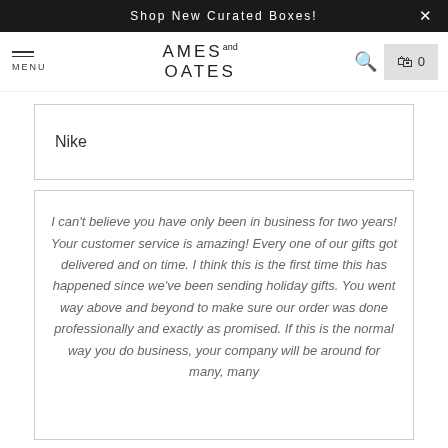Shop New Curated Boxes!
[Figure (logo): Ames and Oates logo with hamburger menu, search icon, and cart showing 0 items]
Nike
I can't believe you have only been in business for two years!  Your customer service is amazing!  Every one of our gifts got delivered and on time.  I think this is the first time this has happened since we've been sending holiday gifts.  You went way above and beyond to make sure our order was done professionally and exactly as promised. If this is the normal way you do business, your company will be around for many, many